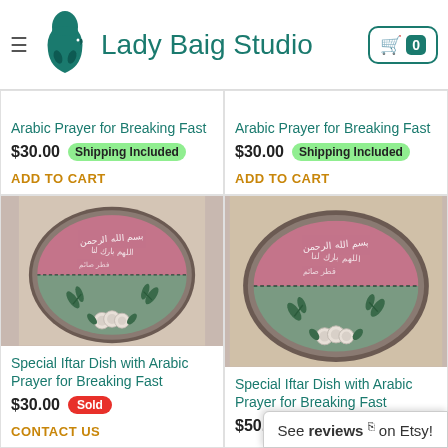Lady Baig Studio
Arabic Prayer for Breaking Fast
$30.00  Shipping Included
ADD TO CART
Arabic Prayer for Breaking Fast
$30.00  Shipping Included
ADD TO CART
[Figure (photo): Ceramic plate with pink top half featuring white Arabic calligraphy and green bottom half with painted leaves and white roses]
[Figure (photo): Ceramic plate with pink top half featuring white Arabic calligraphy and green bottom half with painted leaves and white roses]
Special Iftar Dish with Arabic Prayer for Breaking Fast
$30.00  Sold
CONTACT US
Special Iftar Dish with Arabic Prayer for Breaking Fast
$50.00  Shipping Included
See reviews on Etsy!